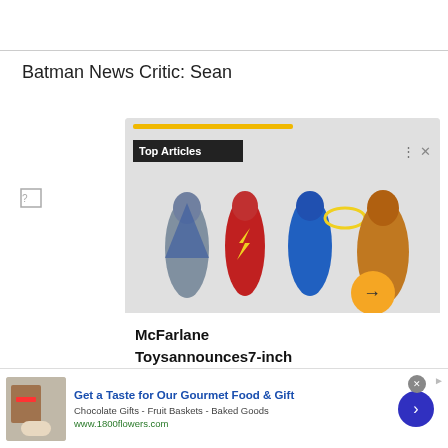Batman News Critic: Sean
[Figure (screenshot): Article card showing DC superhero action figures (Batman, Flash, Blue figure, Orange figure) with 'Top Articles' label, yellow progress bar, and headline 'McFarlane Toys announces 7-inch Injustice 2 Page Punchers']
Get a Taste for Our Gourmet Food & Gift
Chocolate Gifts - Fruit Baskets - Baked Goods
www.1800flowers.com